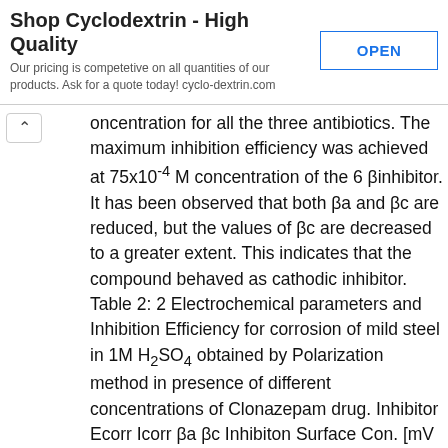[Figure (other): Advertisement banner for cyclodextrin product with OPEN button]
oncentration for all the three antibiotics. The maximum inhibition efficiency was achieved at 75x10-4 M concentration of the 6 βinhibitor. It has been observed that both βa and βc are reduced, but the values of βc are decreased to a greater extent. This indicates that the compound behaved as cathodic inhibitor. Table 2: 2 Electrochemical parameters and Inhibition Efficiency for corrosion of mild steel in 1M H2SO4 obtained by Polarization method in presence of different concentrations of Clonazepam drug. Inhibitor Ecorr Icorr βa βc Inhibiton Surface Con. [mV vs [μA cm-2] [mV [mV efficiency coverage [M] SCE] dec-1] dec-1] [%] Blank -390.12 545.0 81.8 131.6 - - 5x10-3 -339.22 123.17 66.4 122.5 77.40 0.77 20x10-3 -323.43 59.95 52.3 114.3 89.00 0.89 35x10-3 -315.17 9.81 50.8 80.2 98.20 0.98 [θ] Clonazepa m 3.3 Electrochemical impedance studies Values of charge